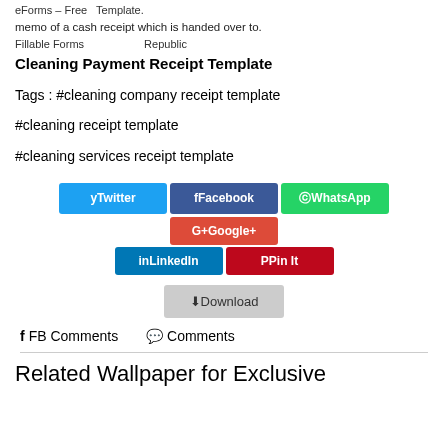eForms – Free Template. memo of a cash receipt which is handed over to. Fillable Forms   Republic
Cleaning Payment Receipt Template
Tags : #cleaning company receipt template
#cleaning receipt template
#cleaning services receipt template
[Figure (infographic): Social sharing buttons: Twitter (blue), Facebook (dark blue), WhatsApp (green), Google+ (red), LinkedIn (blue), Pin It (red)]
[Figure (infographic): Download button (grey)]
FB Comments   Comments
Related Wallpaper for Exclusive